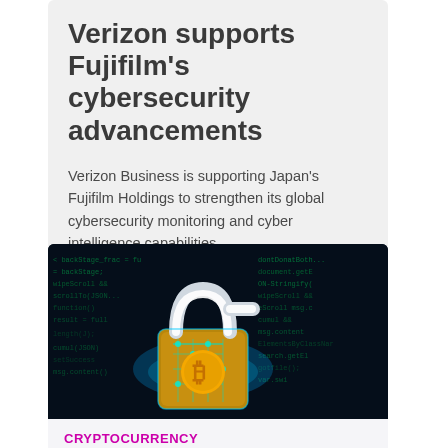Verizon supports Fujifilm's cybersecurity advancements
Verizon Business is supporting Japan's Fujifilm Holdings to strengthen its global cybersecurity monitoring and cyber intelligence capabilities.
[Figure (photo): Dark background with glowing circuit-board padlock with a Bitcoin symbol, surrounded by green code text on a dark blue/black background.]
CRYPTOCURRENCY
Crypto crime: Illicit